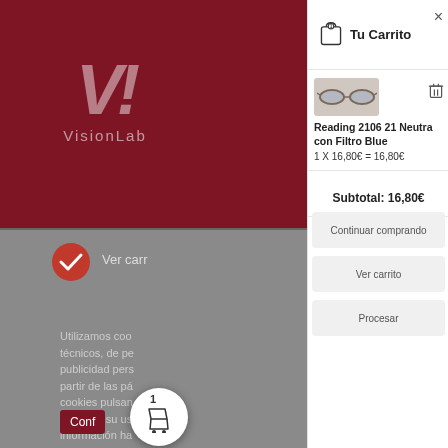[Figure (screenshot): Left panel: VisionLab website with dark red header, V! logo, checkmark circle, Ver carri text, cookie consent text, and Conf button with shopping cart badge]
Tu Carrito
[Figure (photo): Reading glasses product photo]
Reading 2106 21 Neutra con Filtro Blue
1 X 16,80€ = 16,80€
Subtotal: 16,80€
Continuar comprando
Ver carrito
Procesar